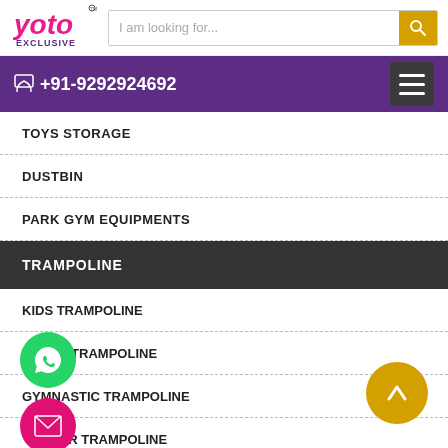[Figure (logo): Yoto Exclusive logo in pink/magenta cursive text with 'EXCLUSIVE' below]
I am looking for...
+91-9292924692
TOYS STORAGE
DUSTBIN
PARK GYM EQUIPMENTS
TRAMPOLINE
KIDS TRAMPOLINE
OUTDOOR TRAMPOLINE
GYMNASTIC TRAMPOLINE
OUTDOOR TRAMPOLINE
PLAY SCHOOL FLOOR MATS